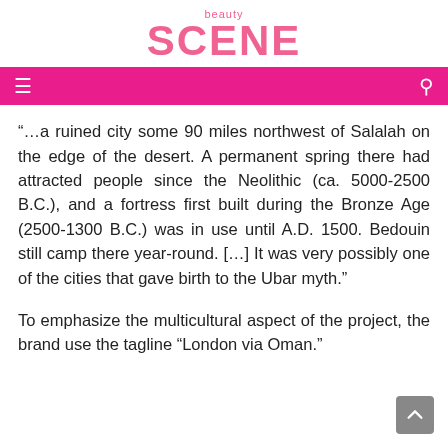beauty SCENE
“…a ruined city some 90 miles northwest of Salalah on the edge of the desert. A permanent spring there had attracted people since the Neolithic (ca. 5000-2500 B.C.), and a fortress first built during the Bronze Age (2500-1300 B.C.) was in use until A.D. 1500. Bedouin still camp there year-round. […] It was very possibly one of the cities that gave birth to the Ubar myth.”
To emphasize the multicultural aspect of the project, the brand use the tagline “London via Oman.”